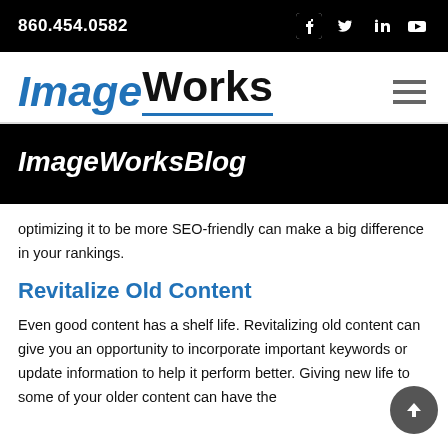860.454.0582
[Figure (logo): ImageWorks logo in italic blue and black bold text with blue underline, plus hamburger menu icon]
ImageWorksBlog
optimizing it to be more SEO-friendly can make a big difference in your rankings.
Revitalize Old Content
Even good content has a shelf life. Revitalizing old content can give you an opportunity to incorporate important keywords or update information to help it perform better. Giving new life to some of your older content can have the